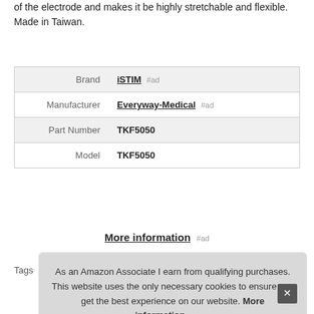of the electrode and makes it be highly stretchable and flexible. Made in Taiwan.
| Brand | iSTIM #ad |
| Manufacturer | Everyway-Medical #ad |
| Part Number | TKF5050 |
| Model | TKF5050 |
More information #ad
Tags
As an Amazon Associate I earn from qualifying purchases. This website uses the only necessary cookies to ensure you get the best experience on our website. More information